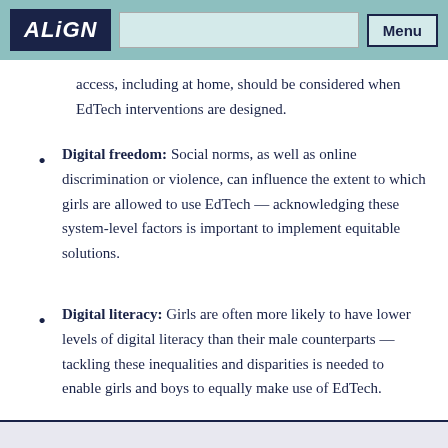ALiGN | Menu
access, including at home, should be considered when EdTech interventions are designed.
Digital freedom: Social norms, as well as online discrimination or violence, can influence the extent to which girls are allowed to use EdTech — acknowledging these system-level factors is important to implement equitable solutions.
Digital literacy: Girls are often more likely to have lower levels of digital literacy than their male counterparts — tackling these inequalities and disparities is needed to enable girls and boys to equally make use of EdTech.